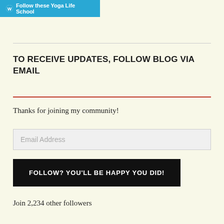[Figure (screenshot): Blue WordPress follow button with white icon reading 'Follow these Yoga Life School']
TO RECEIVE UPDATES, FOLLOW BLOG VIA EMAIL
Thanks for joining my community!
Email Address
FOLLOW? YOU'LL BE HAPPY YOU DID!
Join 2,234 other followers